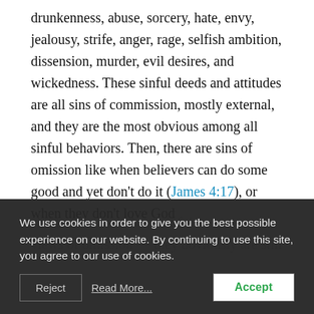drunkenness, abuse, sorcery, hate, envy, jealousy, strife, anger, rage, selfish ambition, dissension, murder, evil desires, and wickedness. These sinful deeds and attitudes are all sins of commission, mostly external, and they are the most obvious among all sinful behaviors. Then, there are sins of omission like when believers can do some good and yet don't do it (James 4:17), or when they don't love God
We use cookies in order to give you the best possible experience on our website. By continuing to use this site, you agree to our use of cookies.